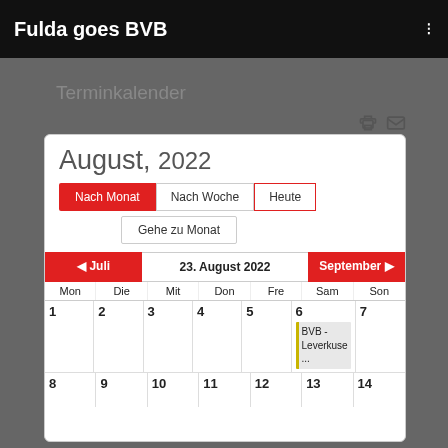Fulda goes BVB
Terminkalender
[Figure (other): Monthly calendar view for August 2022 showing navigation buttons (Nach Monat, Nach Woche, Heute, Gehe zu Monat), navigation strip (Juli / 23. August 2022 / September), days of week (Mon, Die, Mit, Don, Fre, Sam, Son), and first two calendar rows with an event 'BVB - Leverkuse ...' on day 6 (Saturday).]